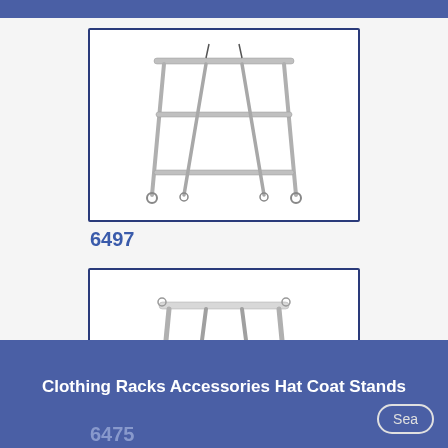[Figure (photo): A chrome A-frame clothing rack with two horizontal bars and small wheels at the base, shown against white background inside a bordered product box]
6497
[Figure (photo): A chrome A-frame single bar clothing/garment rack without wheels, simpler design, shown against white background inside a bordered product box]
6475
Clothing Racks Accessories Hat Coat Stands